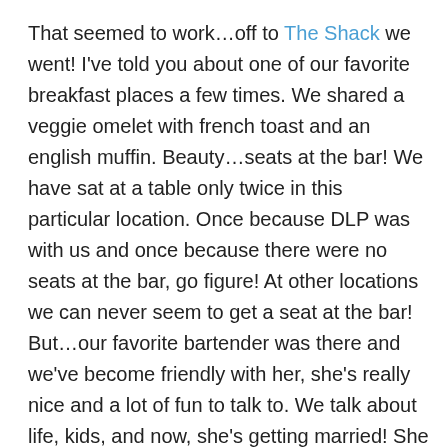That seemed to work…off to The Shack we went! I've told you about one of our favorite breakfast places a few times. We shared a veggie omelet with french toast and an english muffin. Beauty…seats at the bar! We have sat at a table only twice in this particular location. Once because DLP was with us and once because there were no seats at the bar, go figure! At other locations we can never seem to get a seat at the bar! But…our favorite bartender was there and we've become friendly with her, she's really nice and a lot of fun to talk to. We talk about life, kids, and now, she's getting married! She and her fiancé have been working out and you can really tell! She is doing much better than I did before our wedding! You go!
Today we told her we just came from hot yoga and she said she always wanted to try it, she thinks her fiancé